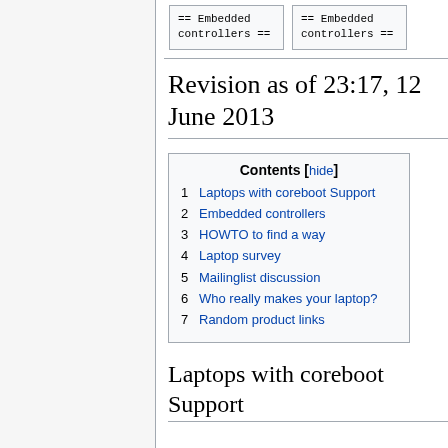[Figure (screenshot): Two code boxes showing '== Embedded controllers ==' in monospace font]
Revision as of 23:17, 12 June 2013
| Contents [hide] |
| --- |
| 1 Laptops with coreboot Support |
| 2 Embedded controllers |
| 3 HOWTO to find a way |
| 4 Laptop survey |
| 5 Mailinglist discussion |
| 6 Who really makes your laptop? |
| 7 Random product links |
Laptops with coreboot Support